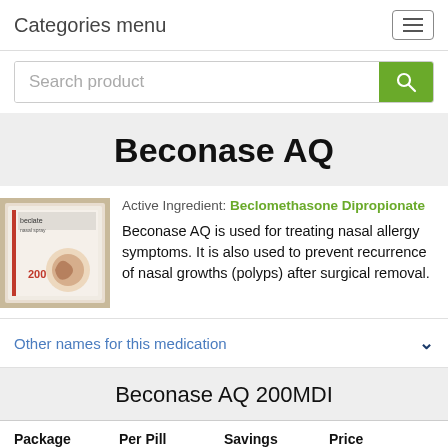Categories menu
Search product
Beconase AQ
[Figure (photo): Product box of Beclate nasal spray 200]
Active Ingredient: Beclomethasone Dipropionate
Beconase AQ is used for treating nasal allergy symptoms. It is also used to prevent recurrence of nasal growths (polyps) after surgical removal.
Other names for this medication
Beconase AQ 200MDI
| Package | Per Pill | Savings | Price |
| --- | --- | --- | --- |